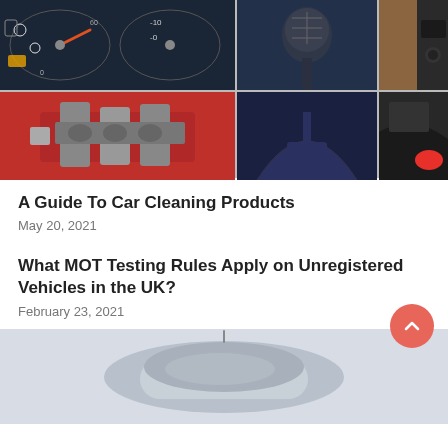[Figure (photo): Collage of 5 car interior and engine photos arranged in a grid: dashboard gauges, gear shift knob, luxury wood interior panel, red engine/motor block, car seat belt and interior trim details]
A Guide To Car Cleaning Products
May 20, 2021
What MOT Testing Rules Apply on Unregistered Vehicles in the UK?
February 23, 2021
[Figure (photo): Bottom portion of a silver/grey car viewed from behind/side angle on a light grey background]